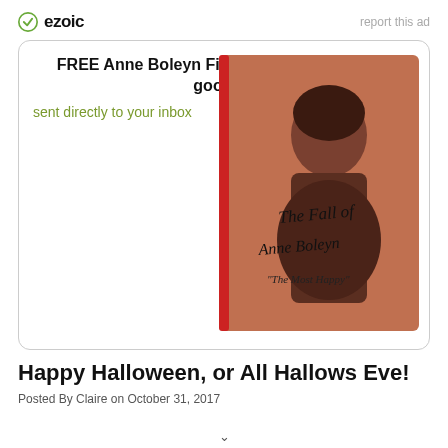ezoic   report this ad
[Figure (illustration): Advertisement box with title 'FREE Anne Boleyn Files Welcome Pack of 5 goodies', subtitle 'sent directly to your inbox', and a book cover image showing 'The Fall of Anne Boleyn - The Most Happy']
Happy Halloween, or All Hallows Eve!
Posted By Claire on October 31, 2017